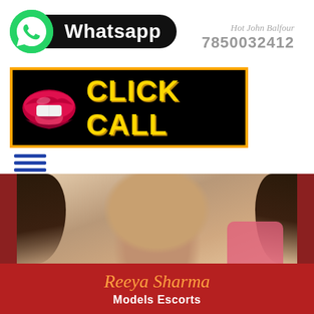[Figure (logo): WhatsApp green circle logo with white phone icon]
Whatsapp
Hot John Balfour
7850032412
[Figure (infographic): Black banner with orange border showing red lips icon and yellow CLICK CALL text]
[Figure (photo): Close-up photo of a young woman with dark hair wearing a pink/red top]
Reeya Sharma
Models Escorts